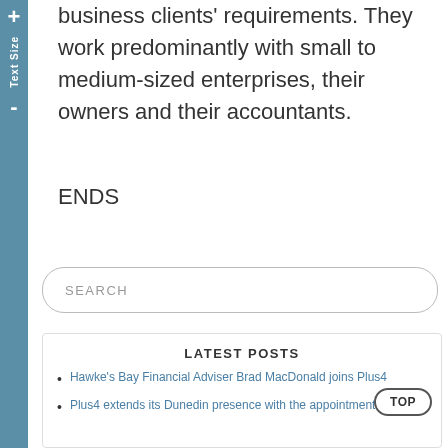business clients' requirements. They work predominantly with small to medium-sized enterprises, their owners and their accountants.
ENDS
[Figure (other): Search box with placeholder text SEARCH]
LATEST POSTS
Hawke's Bay Financial Adviser Brad MacDonald joins Plus4
Plus4 extends its Dunedin presence with the appointment of West